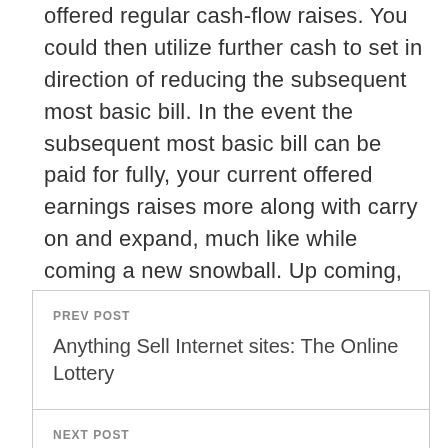offered regular cash-flow raises. You could then utilize further cash to set in direction of reducing the subsequent most basic bill. In the event the subsequent most basic bill can be paid for fully, your current offered earnings raises more along with carry on and expand, much like while coming a new snowball. Up coming, employ that extra money to another most basic bill.
PREV POST
Anything Sell Internet sites: The Online Lottery
NEXT POST